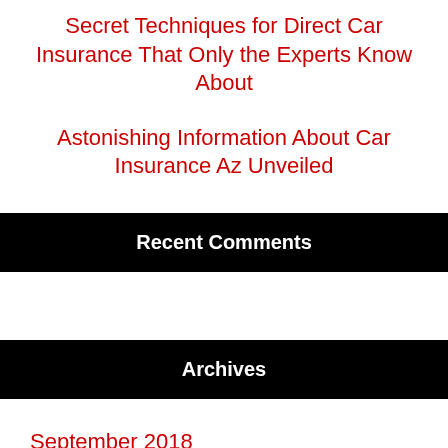Secret Techniques for Direct Car Insurance That Only the Experts Know About
Astonishing Information About Car Insurance Az Unveiled
Recent Comments
Archives
September 2018